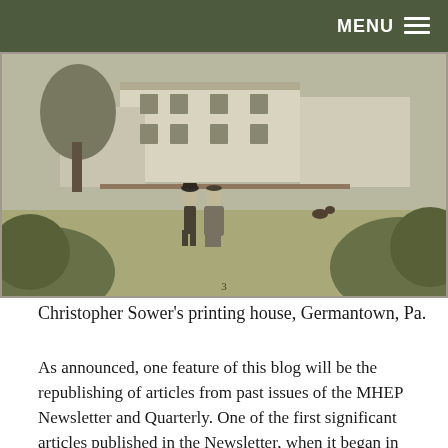MENU
[Figure (illustration): Historical engraving/illustration of Christopher Sower's printing house in Germantown, Pa. Two figures in colonial dress stand in a courtyard garden, with multi-story buildings behind them and foliage in the foreground.]
Christopher Sower’s printing house, Germantown, Pa.
As announced, one feature of this blog will be the republishing of articles from past issues of the MHEP Newsletter and Quarterly. One of the first significant articles published in the Newsletter, when it began in 1975, was a translation by John Ruth of Mennonite-related material published in Christopher Sower’s